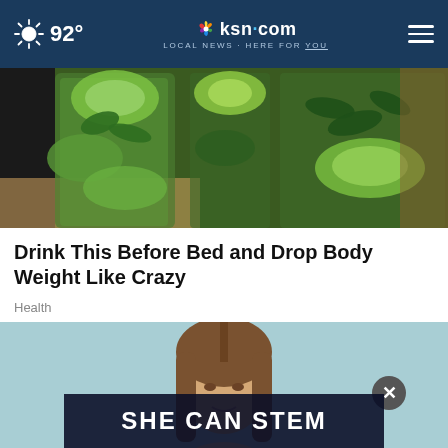92° | ksn.com LOCAL NEWS · HERE FOR YOU
[Figure (photo): Three glass pitchers filled with cucumber slices and green mint leaves, infused water drinks on a kitchen counter]
Drink This Before Bed and Drop Body Weight Like Crazy
Health
[Figure (photo): Young woman with straight brown hair against a light blue background, with an ad overlay reading SHE CAN STEM with a close X button]